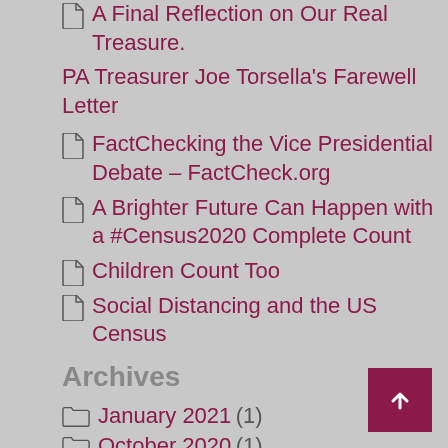A Final Reflection on Our Real Treasure
PA Treasurer Joe Torsella's Farewell Letter
FactChecking the Vice Presidential Debate – FactCheck.org
A Brighter Future Can Happen with a #Census2020 Complete Count
Children Count Too
Social Distancing and the US Census
Archives
January 2021 (1)
October 2020 (1)
May 2020 (4)
April 2020 (1)
August 2019 (1)
January 2019 (1)